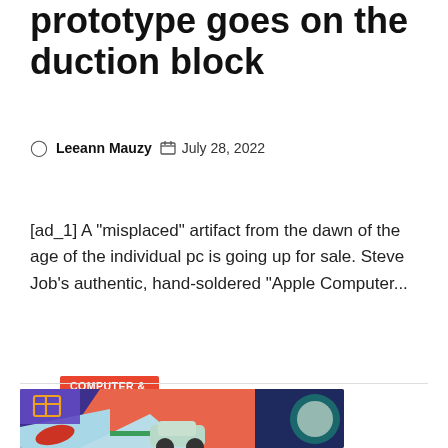prototype goes on the duction block
Leeann Mauzy   July 28, 2022
COMPUTER & TECHNOLOGY
[ad_1] A "misplaced" artifact from the dawn of the age of the individual pc is going up for sale. Steve Job's authentic, hand-soldered "Apple Computer...
[Figure (photo): Promotional image of a small electric concept SUV car (Citroën Oli concept) in a colorful abstract scene with coral/salmon background, purple and teal geometric shapes, and a green circular opening on the right side.]